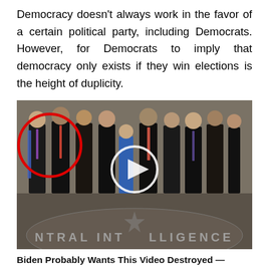Democracy doesn't always work in the favor of a certain political party, including Democrats. However, for Democrats to imply that democracy only exists if they win elections is the height of duplicity.
[Figure (photo): A group photo of people in dark suits standing in front of the CIA lobby seal on the floor. One person on the left is highlighted with a red circle. A video play button is overlaid in the center of the image.]
Biden Probably Wants This Video Destroyed — Massive Currency Upheaval Has Started